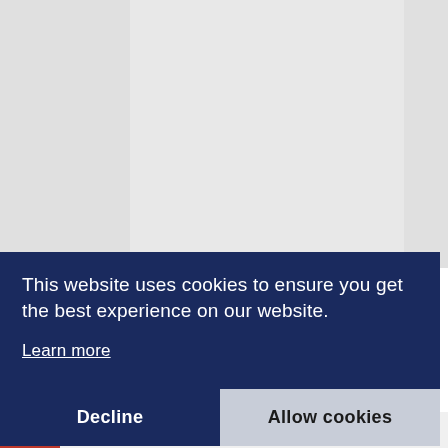[Figure (screenshot): Grey background area representing a website page with a lighter inner column area, partially visible behind a cookie consent banner.]
This website uses cookies to ensure you get the best experience on our website.
Learn more
Decline
Allow cookies
Hungary, Jointly With Hungarian